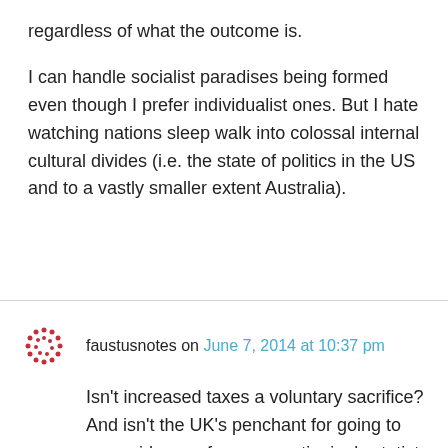regardless of what the outcome is.
I can handle socialist paradises being formed even though I prefer individualist ones. But I hate watching nations sleep walk into colossal internal cultural divides (i.e. the state of politics in the US and to a vastly smaller extent Australia).
faustusnotes on June 7, 2014 at 10:37 pm
Isn't increased taxes a voluntary sacrifice? And isn't the UK's penchant for going to war evidence of an unquestioningly statist approach to the world? If UKIP is a pushback on political correctness it's a strange sort of pushback